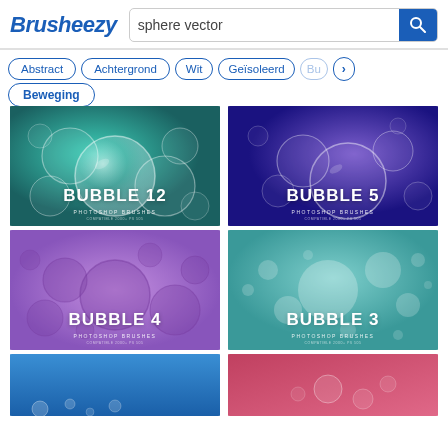Brusheezy — sphere vector search page
Abstract  Achtergrond  Wit  Geïsoleerd  Bu>
Beweging
[Figure (illustration): Bubble 12 Photoshop Brushes — teal/green background with transparent spherical bubbles]
[Figure (illustration): Bubble 5 Photoshop Brushes — deep purple/blue background with transparent spherical bubbles]
[Figure (illustration): Bubble 4 Photoshop Brushes — lavender/purple background with dark purple opaque circles]
[Figure (illustration): Bubble 3 Photoshop Brushes — teal/cyan background with white soft bokeh/bubble circles]
[Figure (illustration): Partial thumbnail — blue gradient background with small bubbles at bottom]
[Figure (illustration): Partial thumbnail — rose/red-pink background with transparent bubbles]